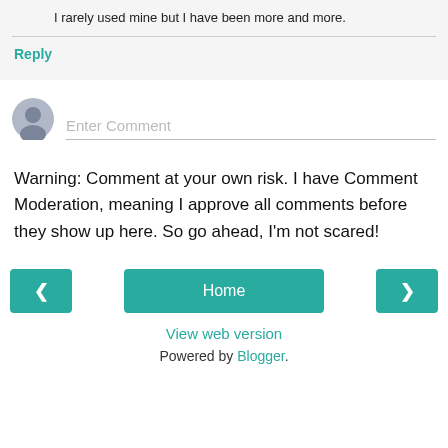I rarely used mine but I have been more and more.
Reply
[Figure (other): User avatar circle placeholder and Enter Comment input field]
Warning: Comment at your own risk. I have Comment Moderation, meaning I approve all comments before they show up here. So go ahead, I'm not scared!
[Figure (other): Navigation bar with left arrow button, Home button, and right arrow button, plus View web version link and Powered by Blogger text]